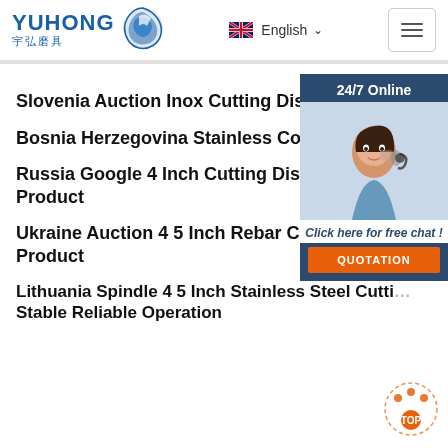YUHONG 宇弘磨具 | English | Menu
Slovenia Auction Inox Cutting Disc Perfe…
Bosnia Herzegovina Stainless Codisc Eas…
Russia Google 4 Inch Cutting Discs Metal… Product
Ukraine Auction 4 5 Inch Rebar Cutting Di… Product
Lithuania Spindle 4 5 Inch Stainless Steel Cutting Disc Stable Reliable Operation
[Figure (other): 24/7 Online chat widget with customer service agent photo, 'Click here for free chat!' text, and orange QUOTATION button]
[Figure (other): TOP scroll-to-top icon at bottom right]